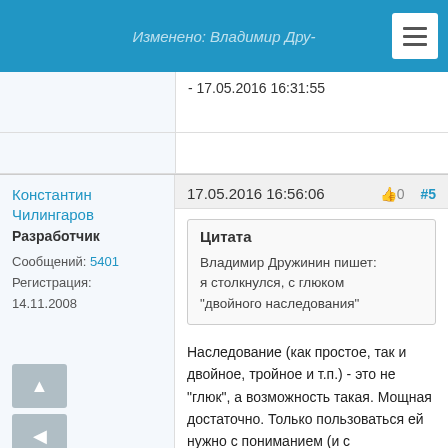Изменено: Владимир Дру- · 17.05.2016 16:31:55
- 17.05.2016 16:31:55
Константин Чилингаров
Разработчик
Сообщений: 5401
Регистрация: 14.11.2008
17.05.2016 16:56:06  👍0  #5
Цитата
Владимир Дружинин пишет: я столкнулся, с глюком "двойного наследования"
Наследование (как простое, так и двойное, тройное и т.п.) - это не "глюк", а возможность такая. Мощная достаточно. Только пользоваться ей нужно с пониманием (и с осторожностью, можно сказать). Поскольку штука